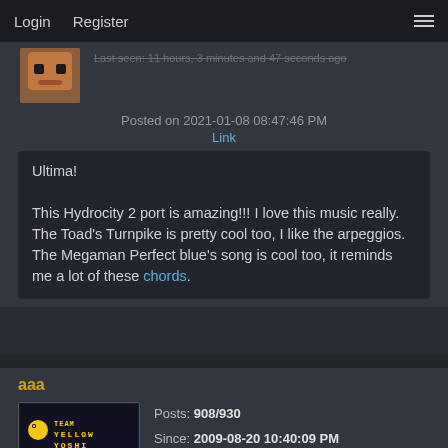Login   Register
Last seen: 11 hours, 3 minutes and 47 seconds ago
Posted on 2021-01-08 08:47:46 PM
Link
Ultima!

This Hydrocity 2 port is amazing!!! I love this music really. The Toad's Turnpike is pretty cool too, I like the arpeggios. The Megaman Perfect blue's song is cool too, it reminds me a lot of these chords.
aaa
[Figure (logo): Team Yellow Yoshi badge with pixel art Yoshi character]
Posts: 908/930
Since: 2009-08-20 10:40:09 PM
Last seen: 4 days ago